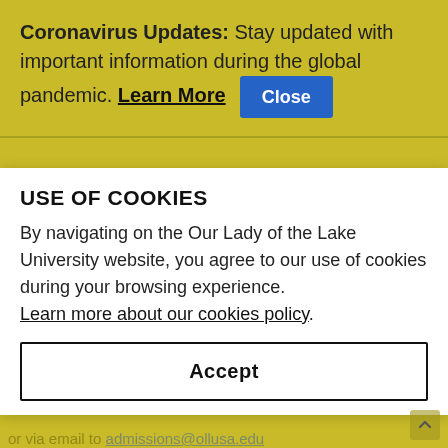Coronavirus Updates: Stay updated with important information during the global pandemic. Learn More [Close]
include test scores in your admission file, request scores be sent directly from the American College Testing or the College Board using the OLLU code...
USE OF COOKIES
By navigating on the Our Lady of the Lake University website, you agree to our use of cookies during your browsing experience. Learn more about our cookies policy.
Send information to:
411 S.W. 24th Street
San Antonio, TX 78207-4689
or via email to admissions@ollusa.edu
Accept